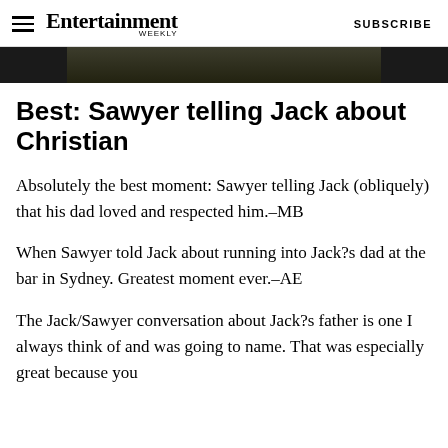Entertainment Weekly — SUBSCRIBE
[Figure (photo): Partial image strip showing a dark scene, cropped at top of page]
Best: Sawyer telling Jack about Christian
Absolutely the best moment: Sawyer telling Jack (obliquely) that his dad loved and respected him.–MB
When Sawyer told Jack about running into Jack?s dad at the bar in Sydney. Greatest moment ever.–AE
The Jack/Sawyer conversation about Jack?s father is one I always think of and was going to name. That was especially great because you